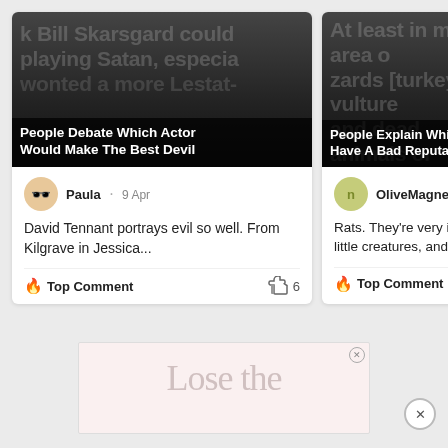[Figure (screenshot): Screenshot of two social media content cards side by side. Left card: headline image with dark background and overlay text 'People Debate Which Actor Would Make The Best Devil', user Paula, date 9 Apr, comment 'David Tennant portrays evil so well. From Kilgrave in Jessica...', Top Comment label with fire icon, 6 likes. Right card (partially visible): headline image with dark background, overlay text 'People Explain Whic Have A Bad Reputa', user OliveMagnet, comment 'Rats. They're very inte little creatures, and ar', Top Comment label with fire icon. Below the cards, an advertisement partially visible with 'Lose the' text and close buttons.]